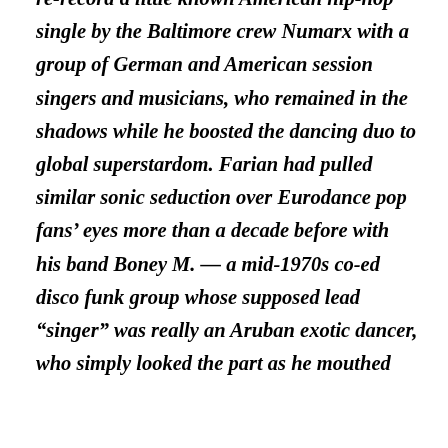re-record a little known American hip-hop single by the Baltimore crew Numarx with a group of German and American session singers and musicians, who remained in the shadows while he boosted the dancing duo to global superstardom. Farian had pulled similar sonic seduction over Eurodance pop fans' eyes more than a decade before with his band Boney M. — a mid-1970s co-ed disco funk group whose supposed lead “singer” was really an Aruban exotic dancer, who simply looked the part as he mouthed